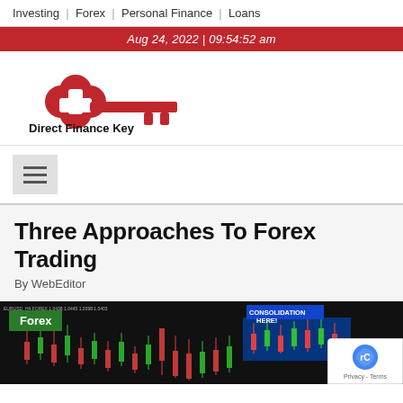Investing | Forex | Personal Finance | Loans
Aug 24, 2022 | 09:54:52 am
[Figure (logo): Direct Finance Key logo — a red key shape with clover head, and bold text 'Direct Finance Key' below]
[Figure (other): Hamburger menu button (three horizontal bars)]
Three Approaches To Forex Trading
By WebEditor
[Figure (screenshot): Forex trading chart screenshot showing candlestick chart on dark background with 'Forex' green badge, 'CONSOLIDATION HERE' annotation in yellow, and 'MAJOR RESISTANCE LEVEL LINE' annotation in yellow]